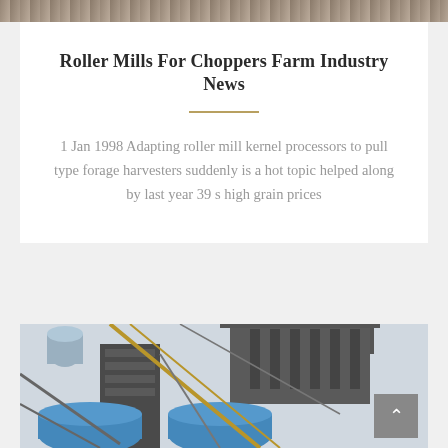[Figure (photo): Partial view of industrial or farm machinery at the top of the page, showing a brown/tan textured background.]
Roller Mills For Choppers Farm Industry News
1 Jan 1998 Adapting roller mill kernel processors to pull type forage harvesters suddenly is a hot topic helped along by last year 39 s high grain prices
[Figure (photo): Industrial/agricultural machinery photo showing tall metal structures with blue cylindrical tanks, staircases, and scaffolding against a light sky.]